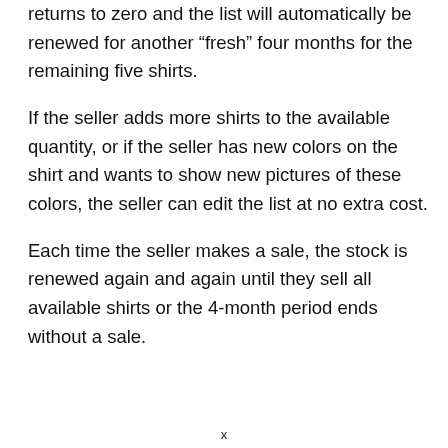returns to zero and the list will automatically be renewed for another “fresh” four months for the remaining five shirts.
If the seller adds more shirts to the available quantity, or if the seller has new colors on the shirt and wants to show new pictures of these colors, the seller can edit the list at no extra cost.
Each time the seller makes a sale, the stock is renewed again and again until they sell all available shirts or the 4-month period ends without a sale.
x